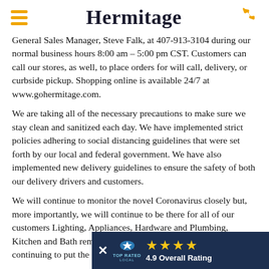Hermitage
General Sales Manager, Steve Falk, at 407-913-3104 during our normal business hours 8:00 am – 5:00 pm CST. Customers can call our stores, as well, to place orders for will call, delivery, or curbside pickup. Shopping online is available 24/7 at www.gohermitage.com.
We are taking all of the necessary precautions to make sure we stay clean and sanitized each day. We have implemented strict policies adhering to social distancing guidelines that were set forth by our local and federal government. We have also implemented new delivery guidelines to ensure the safety of both our delivery drivers and customers.
We will continue to monitor the novel Coronavirus closely but, more importantly, we will continue to be there for all of our customers Lighting, Appliances, Hardware and Plumbing, Kitchen and Bath remodeling, and Accessories needs while continuing to put the safety of our employees and customers first.
Thank you.
[Figure (infographic): Top Rated Local banner with close button, logo, 4 gold stars, and '4.9 Overall Rating' text on dark navy background]